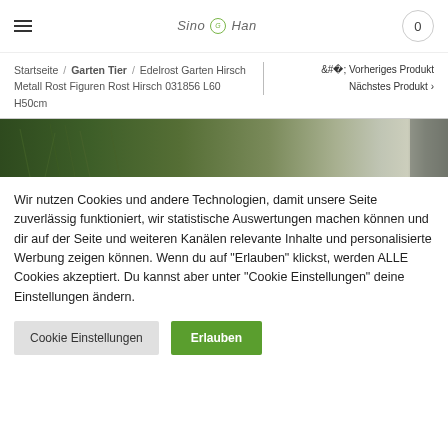Sino Han — navigation header with hamburger menu, logo, and cart (0)
Startseite / Garten Tier / Edelrost Garten Hirsch Metall Rost Figuren Rost Hirsch 031856 L60 H50cm
‹ Vorheriges Produkt   Nächstes Produkt ›
[Figure (photo): Product photo strip showing garden deer sculpture against green foliage background]
Wir nutzen Cookies und andere Technologien, damit unsere Seite zuverlässig funktioniert, wir statistische Auswertungen machen können und dir auf der Seite und weiteren Kanälen relevante Inhalte und personalisierte Werbung zeigen können. Wenn du auf "Erlauben" klickst, werden ALLE Cookies akzeptiert. Du kannst aber unter "Cookie Einstellungen" deine Einstellungen ändern.
Cookie Einstellungen   Erlauben